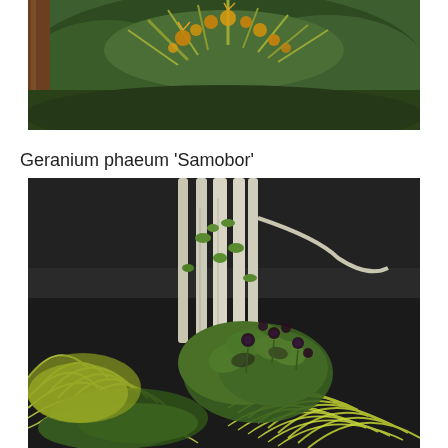[Figure (photo): Close-up photograph of a plant with yellow-orange flowers and green spiky foliage, likely a Banksia or similar shrub, with a brown trunk visible on the left.]
Geranium phaeum 'Samobor'
[Figure (photo): Garden photograph showing Geranium phaeum 'Samobor' with dark purple-maroon flowers growing at the base of a multi-stemmed white-barked tree, surrounded by ornamental grasses (Hakonechloa) with yellow-green variegated blades, and low green foliage, against a dark background wall or fence.]